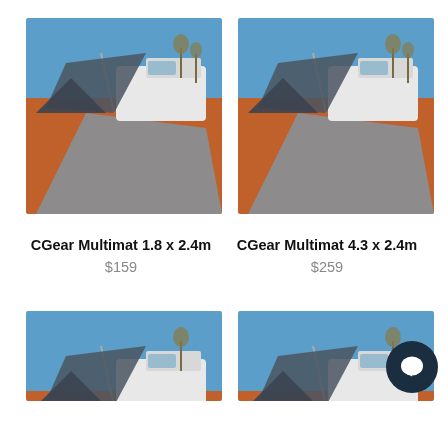[Figure (photo): Gray camping mat (CGear Multimat) laid out on red desert sand next to a white 4WD vehicle with a side awning and a dark tent nearby, under a clear blue sky.]
CGear Multimat 1.8 x 2.4m
$159
[Figure (photo): Same gray camping mat (CGear Multimat) laid out on red desert sand next to a white 4WD vehicle with a side awning and a dark tent nearby, under a clear blue sky.]
CGear Multimat 4.3 x 2.4m
$259
[Figure (photo): Partial view of another gray CGear Multimat on red desert sand, similar outdoor camping scene.]
[Figure (photo): Partial view of another gray CGear Multimat on red desert sand, similar outdoor camping scene, with a circular chat button overlay.]